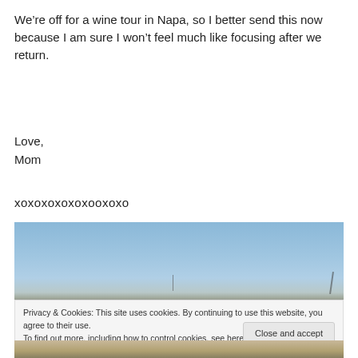We’re off for a wine tour in Napa, so I better send this now because I am sure I won’t feel much like focusing after we return.
Love,
Mom
xoxoxoxoxoxooxoxo
[Figure (photo): Coastal or lakeside landscape photo with blue sky and water, thin vertical elements (poles or reeds) visible near bottom]
Privacy & Cookies: This site uses cookies. By continuing to use this website, you agree to their use.
To find out more, including how to control cookies, see here: Cookie Policy
Close and accept
[Figure (photo): Partial photo at bottom edge, appears to show sandy or rocky ground]